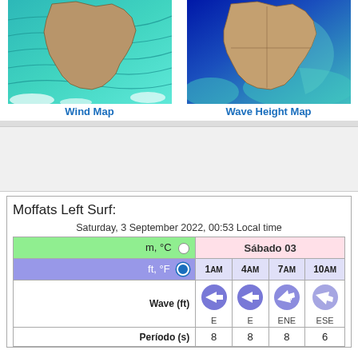[Figure (map): Wind map showing Australia and surrounding ocean with contour lines in teal/cyan colors indicating wind patterns]
Wind Map
[Figure (map): Wave height map showing Australia and surrounding ocean with blue/teal colors indicating wave heights]
Wave Height Map
Moffats Left Surf:
Saturday, 3 September 2022, 00:53 Local time
|  | Sábado 03 |
| --- | --- |
| m, °C ○ | Sábado 03 |
| ft, °F ● | 1AM | 4AM | 7AM | 10AM |
| Wave (ft) | 4 E | 4 E | 4.5 ENE | 6 ESE |
| Período (s) | 8 | 8 | 8 | 6 |